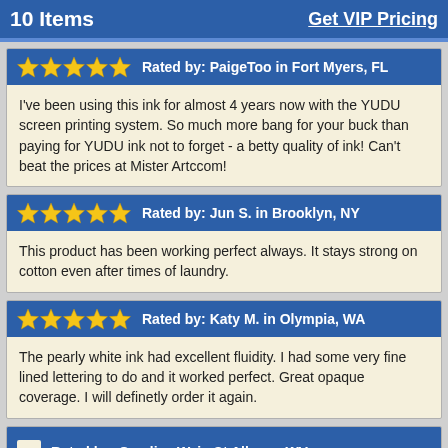10 Items    Get VIP Pricing
I've been using this ink for almost 4 years now with the YUDU screen printing system. So much more bang for your buck than paying for YUDU ink not to forget - a betty quality of ink! Can't beat the prices at Mister Artccom!
This product has been working perfect always. It stays strong on cotton even after times of laundry.
The pearly white ink had excellent fluidity. I had some very fine lined lettering to do and it worked perfect. Great opaque coverage. I will definetly order it again.
Rated by: Candice W. in St Albans, WV